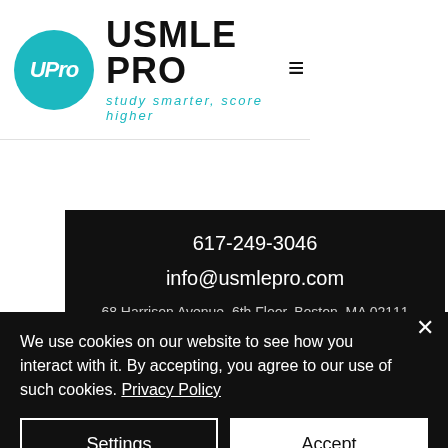USMLE PRO — study smarter, score higher
617-249-3046
info@usmlepro.com
68 Harrison Avenue, 6th Floor, Boston, MA 02111
We use cookies on our website to see how you interact with it. By accepting, you agree to our use of such cookies. Privacy Policy